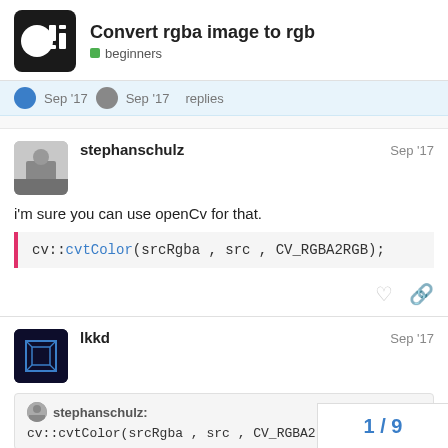Convert rgba image to rgb — beginners
Sep '17   Sep '17   replies
stephanschulz   Sep '17
i'm sure you can use openCv for that.
cv::cvtColor(srcRgba , src , CV_RGBA2RGB);
lkkd   Sep '17
stephanschulz:
cv::cvtColor(srcRgba , src , CV_RGBA2
1 / 9